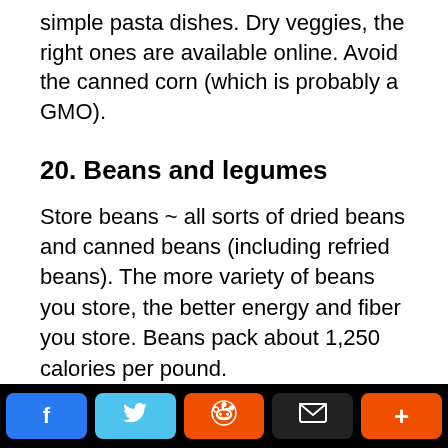simple pasta dishes. Dry veggies, the right ones are available online. Avoid the canned corn (which is probably a GMO).
20. Beans and legumes
Store beans ~ all sorts of dried beans and canned beans (including refried beans). The more variety of beans you store, the better energy and fiber you store. Beans pack about 1,250 calories per pound.
f  [Twitter bird]  [Reddit alien]  [envelope]  +